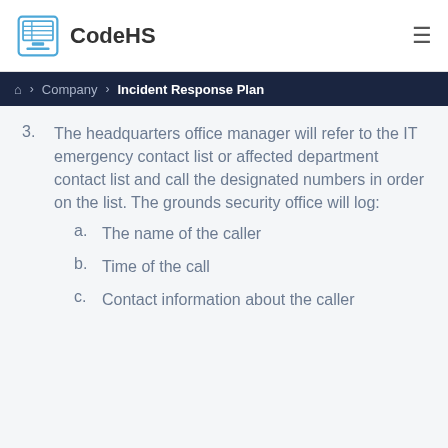CodeHS
Company > Incident Response Plan
3. The headquarters office manager will refer to the IT emergency contact list or affected department contact list and call the designated numbers in order on the list. The grounds security office will log:
a. The name of the caller
b. Time of the call
c. Contact information about the caller